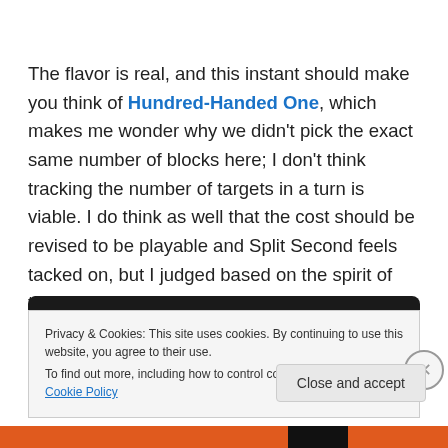The flavor is real, and this instant should make you think of Hundred-Handed One, which makes me wonder why we didn't pick the exact same number of blocks here; I don't think tracking the number of targets in a turn is viable. I do think as well that the cost should be revised to be playable and Split Second feels tacked on, but I judged based on the spirit of the card, which I liked a bunch.
Privacy & Cookies: This site uses cookies. By continuing to use this website, you agree to their use. To find out more, including how to control cookies, see here: Cookie Policy
Close and accept